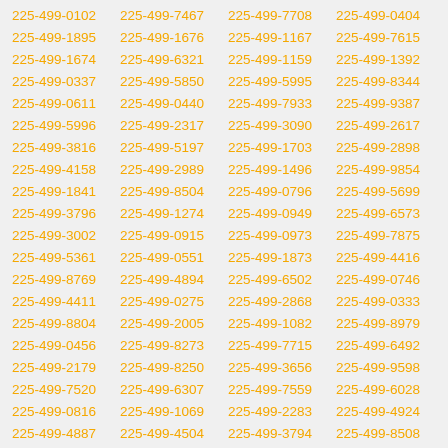225-499-0102 225-499-7467 225-499-7708 225-499-0404 225-499-1895 225-499-1676 225-499-1167 225-499-7615 225-499-1674 225-499-6321 225-499-1159 225-499-1392 225-499-0337 225-499-5850 225-499-5995 225-499-8344 225-499-0611 225-499-0440 225-499-7933 225-499-9387 225-499-5996 225-499-2317 225-499-3090 225-499-2617 225-499-3816 225-499-5197 225-499-1703 225-499-2898 225-499-4158 225-499-2989 225-499-1496 225-499-9854 225-499-1841 225-499-8504 225-499-0796 225-499-5699 225-499-3796 225-499-1274 225-499-0949 225-499-6573 225-499-3002 225-499-0915 225-499-0973 225-499-7875 225-499-5361 225-499-0551 225-499-1873 225-499-4416 225-499-8769 225-499-4894 225-499-6502 225-499-0746 225-499-4411 225-499-0275 225-499-2868 225-499-0333 225-499-8804 225-499-2005 225-499-1082 225-499-8979 225-499-0456 225-499-8273 225-499-7715 225-499-6492 225-499-2179 225-499-8250 225-499-3656 225-499-9598 225-499-7520 225-499-6307 225-499-7559 225-499-6028 225-499-0816 225-499-1069 225-499-2283 225-499-4924 225-499-4887 225-499-4504 225-499-3794 225-499-8508 225-499-1953 225-499-3038 225-499-9706 225-499-9047 225-499-4764 225-499-0903 225-499-2077 225-499-3535 225-499-9909 225-499-5174 225-499-2164 225-499-1903 225-499-9479 225-499-1700 225-499-5033 225-499-5086 225-499-7306 225-499-3964 225-499-3433 225-499-6346 225-499-1638 225-499-6679 225-499-2792 225-499-6349 225-499-2992 225-499-4659 225-499-5178 225-499-7161 225-499-1184 225-499-6618 225-499-8526 225-499-8429 225-499-4219 225-499-5293 225-499-1160 225-499-3550 225-499-4664 225-499-9921 225-499-4313 225-499-0842 225-499-2760 225-499-0462 225-499-2498 225-499-5337